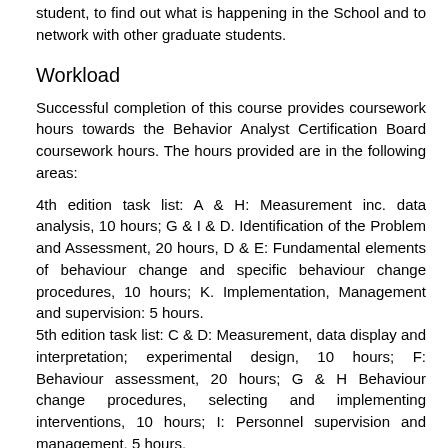student, to find out what is happening in the School and to network with other graduate students.
Workload
Successful completion of this course provides coursework hours towards the Behavior Analyst Certification Board coursework hours. The hours provided are in the following areas:
4th edition task list: A & H: Measurement inc. data analysis, 10 hours; G & I & D. Identification of the Problem and Assessment, 20 hours, D & E: Fundamental elements of behaviour change and specific behaviour change procedures, 10 hours; K. Implementation, Management and supervision: 5 hours.
5th edition task list: C & D: Measurement, data display and interpretation; experimental design, 10 hours; F: Behaviour assessment, 20 hours; G & H Behaviour change procedures, selecting and implementing interventions, 10 hours; I: Personnel supervision and management, 5 hours.
The amount of work expected of a typical student in a 15 point graduate paper (offered over one semester) is approximately 10 hours per week. These figures are only approximations, as papers vary in their requirements and students vary in both the amount of